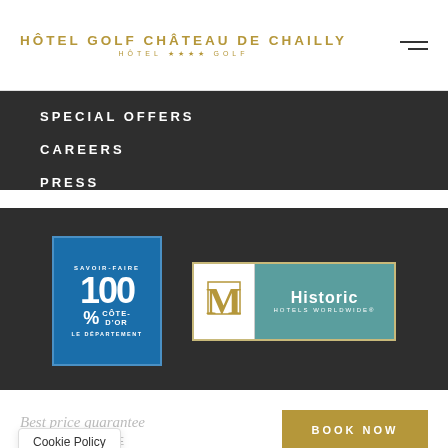[Figure (logo): Hôtel Golf Château de Chailly logo with text HÔTEL GOLF CHÂTEAU DE CHAILLY and subtitle HÔTEL★★★★GOLF in gold]
SPECIAL OFFERS
CAREERS
PRESS
[Figure (logo): Savoir-Faire 100% Côte-d'Or Le Département badge in blue]
[Figure (logo): Historic Hotels Worldwide badge with teal background]
Best price guarantee
Cookie Policy
BOOK NOW